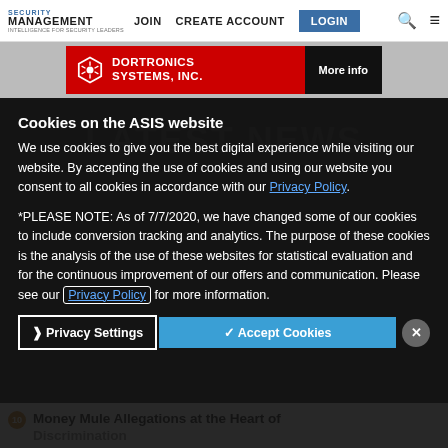SECURITY MANAGEMENT | JOIN | CREATE ACCOUNT | LOGIN
[Figure (advertisement): Dortronics Systems, Inc. advertisement banner in red with hexagon logo and 'More info' button]
Cookies on the ASIS website
We use cookies to give you the best digital experience while visiting our website. By accepting the use of cookies and using our website you consent to all cookies in accordance with our Privacy Policy.
*PLEASE NOTE: As of 7/7/2020, we have changed some of our cookies to include conversion tracking and analytics. The purpose of these cookies is the analysis of the use of these websites for statistical evaluation and for the continuous improvement of our offers and communication. Please see our Privacy Policy for more information.
Privacy Settings | ✓ Accept Cookies
Money Mule Allegations at the Heart of Discrimination